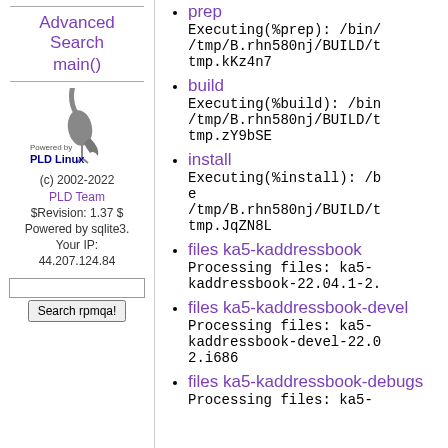Advanced Search
main()
[Figure (logo): Powered by PLD Linux bird logo]
(c) 2002-2022
PLD Team
$Revision: 1.37 $
Powered by sqlite3.
Your IP:
44.207.124.84
prep
Executing(%prep): /bin/ /tmp/B.rhn580nj/BUILD/t tmp.kKz4n7
build
Executing(%build): /bin /tmp/B.rhn580nj/BUILD/t tmp.zY9bSE
install
Executing(%install): /b e /tmp/B.rhn580nj/BUILD/t tmp.JqZN8L
files ka5-kaddressbook
Processing files: ka5-kaddressbook-22.04.1-2.
files ka5-kaddressbook-devel
Processing files: ka5-kaddressbook-devel-22.0 2.i686
files ka5-kaddressbook-debugs
Processing files: ka5-